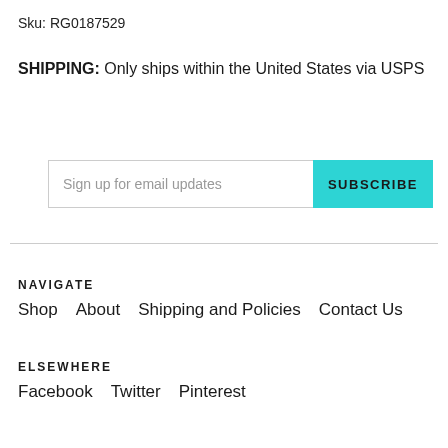Sku: RG0187529
SHIPPING: Only ships within the United States via USPS
Sign up for email updates
SUBSCRIBE
NAVIGATE
Shop   About   Shipping and Policies   Contact Us
ELSEWHERE
Facebook   Twitter   Pinterest